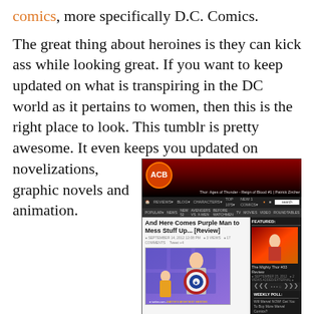comics, more specifically D.C. Comics.
The great thing about heroines is they can kick ass while looking great. If you want to keep updated on what is transpiring in the DC world as it pertains to women, then this is the right place to look. This tumblr is pretty awesome. It even keeps you updated on novelizations, graphic novels and animation.
[Figure (screenshot): Screenshot of ACB (All-Comic Blog) website showing article 'And Here Comes Purple Man to Mess Stuff Up... [Review]' with Captain America animated image, navigation bar, featured sidebar with Thor image, and weekly poll section.]
Woman with super powers fighting the evil in the world fulfill many fantasies of many men. And while I know that I will never be held in the arms of Supergirl as she rescues me from a burning Metropolis, this Tumblr is